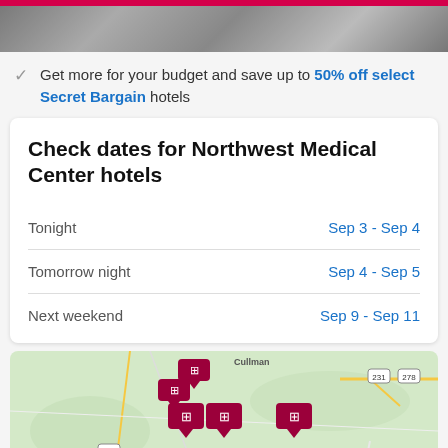[Figure (photo): Hotel room photo with crimson/pink top bar]
Get more for your budget and save up to 50% off select Secret Bargain hotels
Check dates for Northwest Medical Center hotels
| Period | Dates |
| --- | --- |
| Tonight | Sep 3 - Sep 4 |
| Tomorrow night | Sep 4 - Sep 5 |
| Next weekend | Sep 9 - Sep 11 |
[Figure (map): Map of Northwest Medical Center area showing Cullman, Jasper, Amory, Winston area with hotel pin markers]